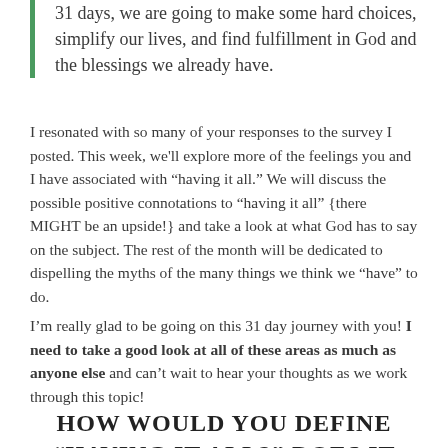31 days, we are going to make some hard choices, simplify our lives, and find fulfillment in God and the blessings we already have.
I resonated with so many of your responses to the survey I posted. This week, we'll explore more of the feelings you and I have associated with “having it all.” We will discuss the possible positive connotations to “having it all” {there MIGHT be an upside!} and take a look at what God has to say on the subject. The rest of the month will be dedicated to dispelling the myths of the many things we think we “have” to do.
I’m really glad to be going on this 31 day journey with you! I need to take a good look at all of these areas as much as anyone else and can’t wait to hear your thoughts as we work through this topic!
HOW WOULD YOU DEFINE “HAVING IT ALL?” DOES IT HAVE